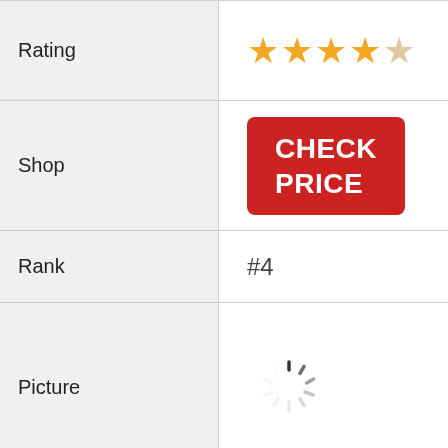| Field | Value |
| --- | --- |
| Rating | 4 out of 5 stars |
| Shop | CHECK PRICE |
| Rank | #4 |
| Picture | (loading spinner) |
| Name | DYSON V6 TRIGGER |